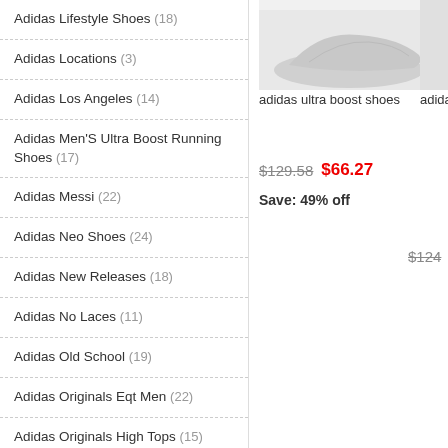Adidas Lifestyle Shoes (18)
Adidas Locations (3)
Adidas Los Angeles (14)
Adidas Men'S Ultra Boost Running Shoes (17)
Adidas Messi (22)
Adidas Neo Shoes (24)
Adidas New Releases (18)
Adidas No Laces (11)
Adidas Old School (19)
Adidas Originals Eqt Men (22)
Adidas Originals High Tops (15)
Adidas Originals Samba (22)
Adidas Originals Shoes For Men (22)
Adidas Originals Shoes Womens (28)
adidas ultra boost shoes
$129.58  $66.27  Save: 49% off